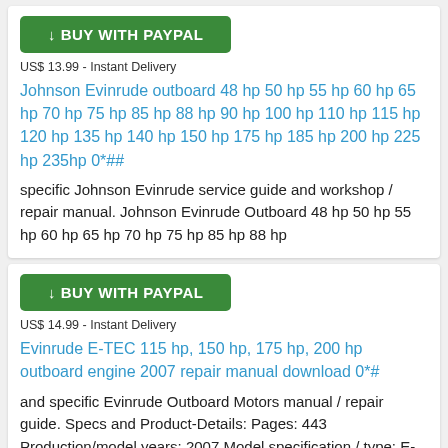[Figure (other): Green Buy with PayPal button]
US$ 13.99 - Instant Delivery
Johnson Evinrude outboard 48 hp 50 hp 55 hp 60 hp 65 hp 70 hp 75 hp 85 hp 88 hp 90 hp 100 hp 110 hp 115 hp 120 hp 135 hp 140 hp 150 hp 175 hp 185 hp 200 hp 225 hp 235hp 0*##
specific Johnson Evinrude service guide and workshop / repair manual. Johnson Evinrude Outboard 48 hp 50 hp 55 hp 60 hp 65 hp 70 hp 75 hp 85 hp 88 hp
[Figure (other): Green Buy with PayPal button]
US$ 14.99 - Instant Delivery
Evinrude E-TEC 115 hp, 150 hp, 175 hp, 200 hp outboard engine 2007 repair manual download 0*#
and specific Evinrude Outboard Motors manual / repair guide. Specs and Product-Details: Pages: 443 Production/model years: 2007 Model specification / type: E-TEC / Evinrude Outboard Motors Engine: 115 hp, 150 hp, 175 hp, 200 hp Manual